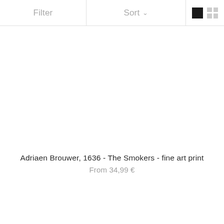Filter   Sort   [view toggle icons]
Adriaen Brouwer, 1636 - The Smokers - fine art print
From 34,99 €